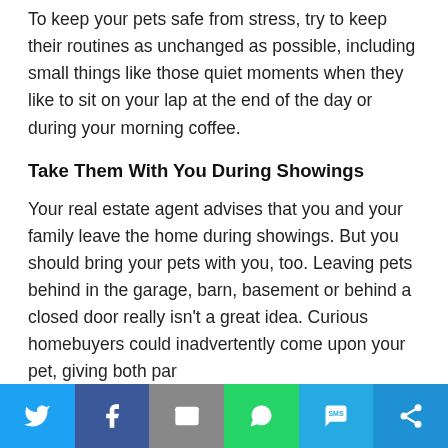To keep your pets safe from stress, try to keep their routines as unchanged as possible, including small things like those quiet moments when they like to sit on your lap at the end of the day or during your morning coffee.
Take Them With You During Showings
Your real estate agent advises that you and your family leave the home during showings. But you should bring your pets with you, too. Leaving pets behind in the garage, barn, basement or behind a closed door really isn't a great idea. Curious homebuyers could inadvertently come upon your pet, giving both par…
Social share bar: Twitter, Facebook, Email, WhatsApp, SMS, More